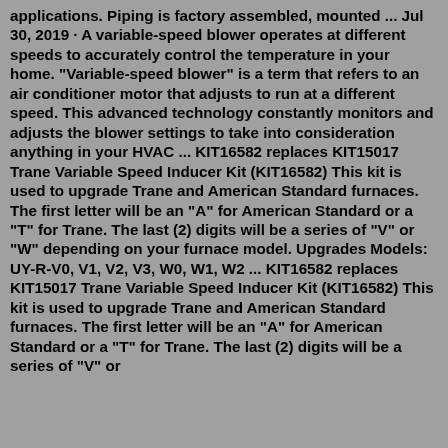applications. Piping is factory assembled, mounted ... Jul 30, 2019 · A variable-speed blower operates at different speeds to accurately control the temperature in your home. "Variable-speed blower" is a term that refers to an air conditioner motor that adjusts to run at a different speed. This advanced technology constantly monitors and adjusts the blower settings to take into consideration anything in your HVAC ... KIT16582 replaces KIT15017 Trane Variable Speed Inducer Kit (KIT16582) This kit is used to upgrade Trane and American Standard furnaces. The first letter will be an "A" for American Standard or a "T" for Trane. The last (2) digits will be a series of "V" or "W" depending on your furnace model. Upgrades Models: UY-R-V0, V1, V2, V3, W0, W1, W2 ... KIT16582 replaces KIT15017 Trane Variable Speed Inducer Kit (KIT16582) This kit is used to upgrade Trane and American Standard furnaces. The first letter will be an "A" for American Standard or a "T" for Trane. The last (2) digits will be a series of "V" or "W" depending on your furnace model. Upgrades Models: UY-R-V0, V1, V2, V3, W0, W1, W2 ...